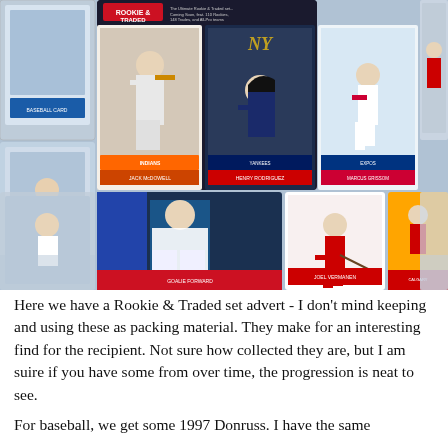[Figure (photo): A collage of sports trading cards including baseball and hockey cards. Visible cards include a Rookie & Traded set advertisement card showing multiple baseball players (Jack McDowell, Henry Rodriguez, Marcus Grissom, Neil Filder, Omar Vizquel) and hockey players, plus various other baseball and hockey cards arranged in a grid/collage pattern.]
Here we have a Rookie & Traded set advert - I don't mind keeping and using these as packing material. They make for an interesting find for the recipient. Not sure how collected they are, but I am suire if you have some from over time, the progression is neat to see.
For baseball, we get some 1997 Donruss. I have the same